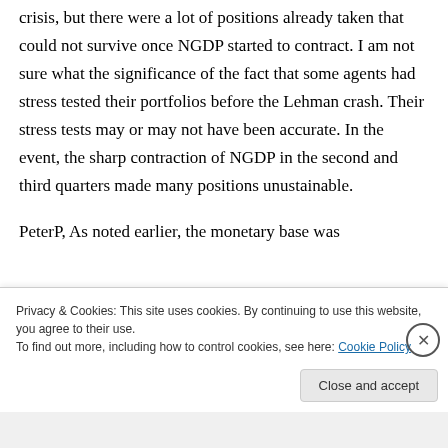crisis, but there were a lot of positions already taken that could not survive once NGDP started to contract. I am not sure what the significance of the fact that some agents had stress tested their portfolios before the Lehman crash. Their stress tests may or may not have been accurate. In the event, the sharp contraction of NGDP in the second and third quarters made many positions unustainable.
PeterP, As noted earlier, the monetary base was
Privacy & Cookies: This site uses cookies. By continuing to use this website, you agree to their use.
To find out more, including how to control cookies, see here: Cookie Policy